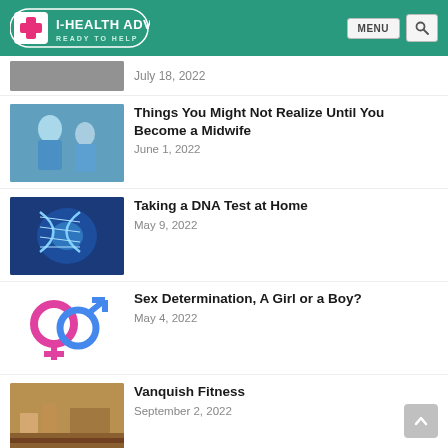I-HEALTH ADVICE — READY TO HELP
July 18, 2022
Things You Might Not Realize Until You Become a Midwife
June 1, 2022
Taking a DNA Test at Home
May 9, 2022
Sex Determination, A Girl or a Boy?
May 4, 2022
Vanquish Fitness
September 2, 2022
Callisthenes (Disambiguation)